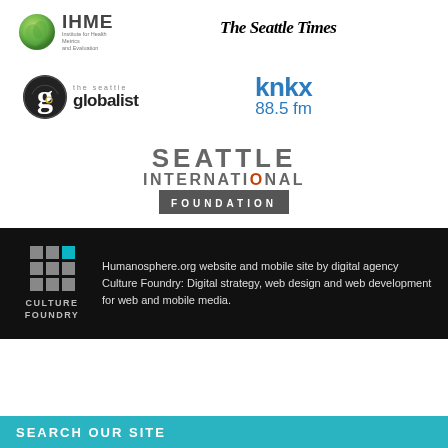[Figure (logo): IHME Institute for Health Metrics and Evaluation logo with green circle icon]
[Figure (logo): The Seattle Times logo in blackletter serif font]
[Figure (logo): the seattle globalist logo with circular G icon]
[Figure (logo): knkx 88.5 fm logo in blue]
[Figure (logo): Seattle International Foundation logo with grey and dark bar]
[Figure (logo): Culture Foundry logo with dot grid and name]
Humanosphere.org website and mobile site by digital agency Culture Foundry: Digital strategy, web design and web development for web and mobile media.
SEARCH OUR SITE